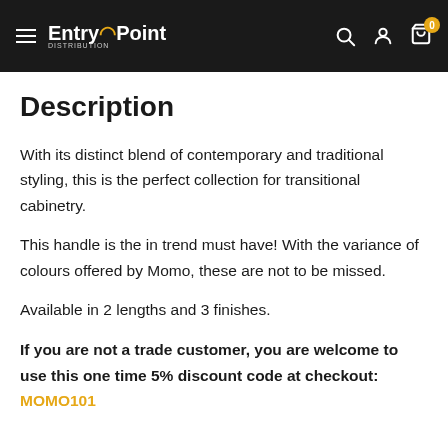EntryPoint Distribution — navigation bar with search, account, cart icons
Description
With its distinct blend of contemporary and traditional styling, this is the perfect collection for transitional cabinetry.
This handle is the in trend must have! With the variance of colours offered by Momo, these are not to be missed.
Available in 2 lengths and 3 finishes.
If you are not a trade customer, you are welcome to use this one time 5% discount code at checkout: MOMO101